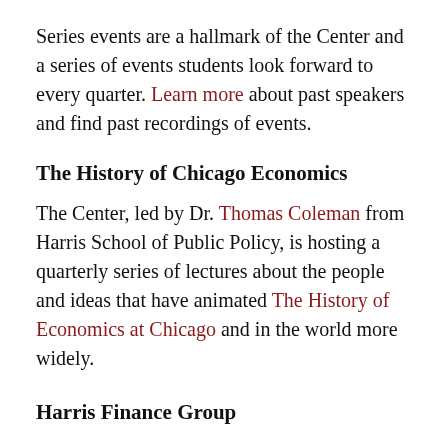Series events are a hallmark of the Center and a series of events students look forward to every quarter. Learn more about past speakers and find past recordings of events.
The History of Chicago Economics
The Center, led by Dr. Thomas Coleman from Harris School of Public Policy, is hosting a quarterly series of lectures about the people and ideas that have animated The History of Economics at Chicago and in the world more widely.
Harris Finance Group